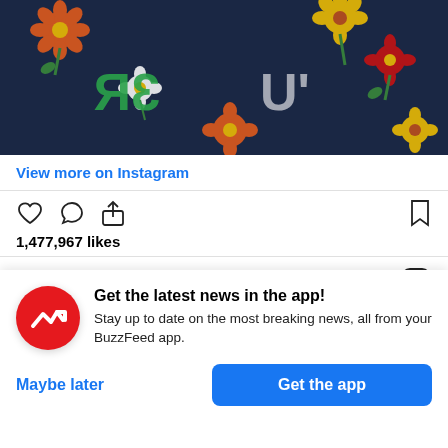[Figure (photo): Instagram post photo showing a dark navy floral fabric/jacket with colorful flowers (orange, yellow, red, white) and text partially visible reading 'RE'. The image is cropped at the top.]
View more on Instagram
[Figure (infographic): Instagram action icons: heart (like), speech bubble (comment), share (upload arrow), and bookmark icon on the right]
1,477,967 likes
Add a comment...
Instagram: @iamhalsey
Get the latest news in the app! Stay up to date on the most breaking news, all from your BuzzFeed app.
Maybe later
Get the app